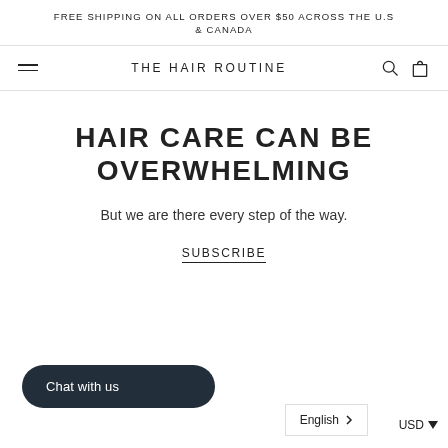FREE SHIPPING ON ALL ORDERS OVER $50 ACROSS THE U.S & CANADA
THE HAIR ROUTINE
HAIR CARE CAN BE OVERWHELMING
But we are there every step of the way.
SUBSCRIBE
Chat with us
English
USD